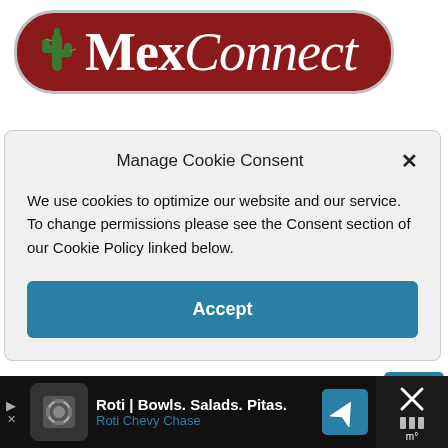[Figure (logo): MexConnect logo: dark red pill-shaped background with cactus icon on left, bold white 'Mex' and italic white 'Connect' text]
Manage Cookie Consent
We use cookies to optimize our website and our service. To change permissions please see the Consent section of our Cookie Policy linked below.
Accept
Index to Mexico this month (all 12 months)
During the month of December
[Figure (screenshot): Ad banner for Roti | Bowls. Salads. Pitas. - Roti Chevy Chase, with navigation icon and close button]